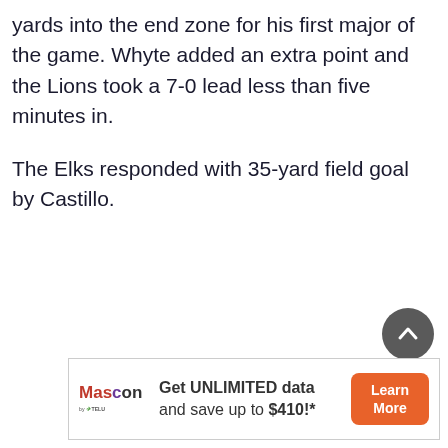yards into the end zone for his first major of the game. Whyte added an extra point and the Lions took a 7-0 lead less than five minutes in.
The Elks responded with 35-yard field goal by Castillo.
[Figure (other): Scroll-to-top circular button with upward chevron arrow, dark gray background]
[Figure (other): Mascon by TELUS advertisement banner: Get UNLIMITED data and save up to $410!* with Learn More button in orange]